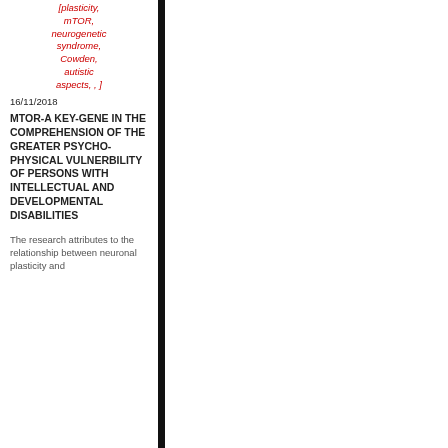[plasticity, mTOR, neurogenetic syndrome, Cowden, autistic aspects, , ]
16/11/2018
MTOR-A KEY-GENE IN THE COMPREHENSION OF THE GREATER PSYCHO-PHYSICAL VULNERBILITY OF PERSONS WITH INTELLECTUAL AND DEVELOPMENTAL DISABILITIES
The research attributes to the relationship between neuronal plasticity and